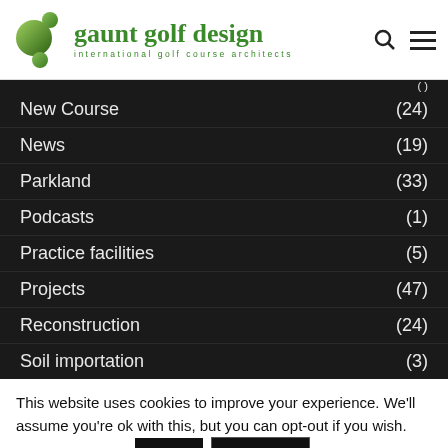gaunt golf design — international golf course architects
New Course (24)
News (19)
Parkland (33)
Podcasts (1)
Practice facilities (5)
Projects (47)
Reconstruction (24)
Soil importation (3)
This website uses cookies to improve your experience. We'll assume you're ok with this, but you can opt-out if you wish. Cookie settings Reject Read More ACCEPT